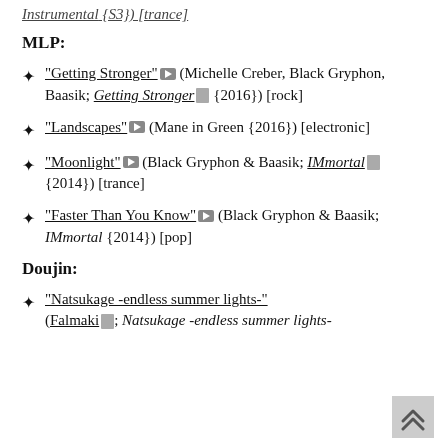Instrumental {S3}) [trance]
MLP:
"Getting Stronger" [YouTube icon] (Michelle Creber, Black Gryphon, Baasik; Getting Stronger [doc icon] {2016}) [rock]
"Landscapes" [YouTube icon] (Mane in Green {2016}) [electronic]
"Moonlight" [YouTube icon] (Black Gryphon & Baasik; IMmortal [doc icon] {2014}) [trance]
"Faster Than You Know" [YouTube icon] (Black Gryphon & Baasik; IMmortal {2014}) [pop]
Doujin:
"Natsukage -endless summer lights-" (Falmaki [doc icon]; Natsukage -endless summer lights-